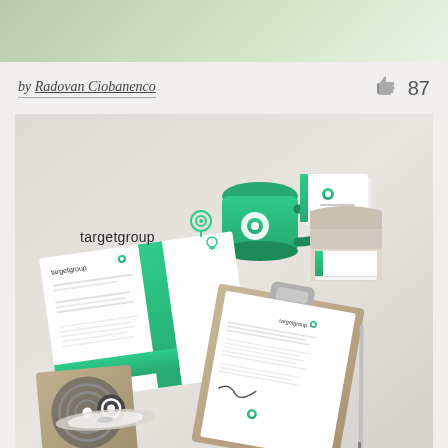[Figure (photo): Top strip showing blurred green foliage background image]
by Radovan Ciobanenco
[Figure (illustration): Thumbs up like icon]
87
[Figure (photo): Brand identity mockup for 'targetgroup' showing stationery items including a green mug, letterhead, business cards, clipboard with document, CD case, all arranged on a light gray surface. The brand uses a teal/green color scheme with a target/lightbulb logo icon.]